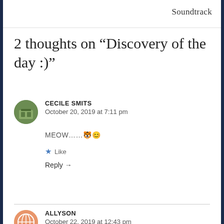Soundtrack
2 thoughts on “Discovery of the day :)”
CECILE SMITS
October 20, 2019 at 7:11 pm
MEOW……🐯😊
Like
Reply →
ALLYSON
October 22, 2019 at 12:43 pm